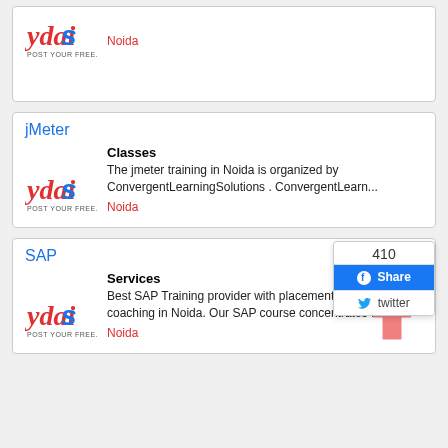[Figure (logo): ydais logo - red cursive text with POST YOUR FREE tagline]
Noida
jMeter
Classes
The jmeter training in Noida is organized by ConvergentLearningSolutions . ConvergentLearn...
[Figure (logo): ydais logo - red cursive text with POST YOUR FREE tagline]
Noida
SAP
Services
Best SAP Training provider with placement targeted SAP coaching in Noida. Our SAP course concentrates from...
[Figure (logo): ydais logo - red cursive text with POST YOUR FREE tagline]
Noida